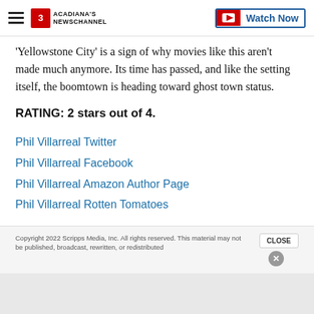Acadiana's Newschannel | Watch Now
'Yellowstone City' is a sign of why movies like this aren't made much anymore. Its time has passed, and like the setting itself, the boomtown is heading toward ghost town status.
RATING: 2 stars out of 4.
Phil Villarreal Twitter
Phil Villarreal Facebook
Phil Villarreal Amazon Author Page
Phil Villarreal Rotten Tomatoes
Copyright 2022 Scripps Media, Inc. All rights reserved. This material may not be published, broadcast, rewritten, or redistributed